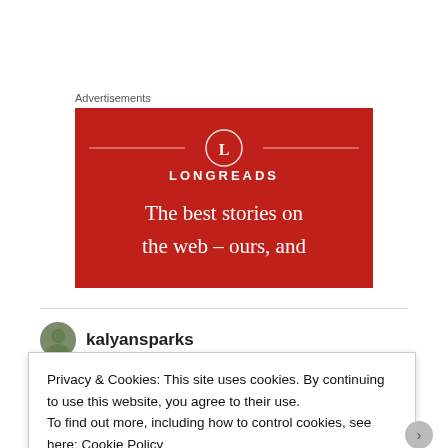Advertisements
[Figure (illustration): Longreads advertisement banner with red background. Shows the Longreads logo (circle with L, flanked by horizontal lines) and the text 'The best stories on the web – ours, and']
kalyansparks
Privacy & Cookies: This site uses cookies. By continuing to use this website, you agree to their use.
To find out more, including how to control cookies, see here: Cookie Policy
Close and accept